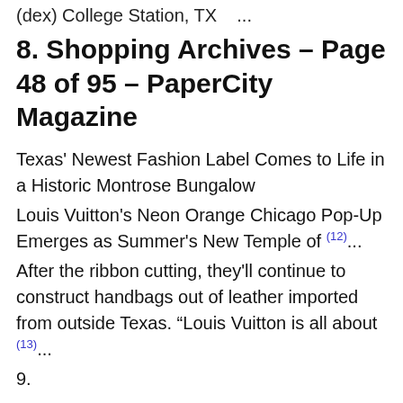(dex) College Station, TX   ...
8. Shopping Archives – Page 48 of 95 – PaperCity Magazine
Texas' Newest Fashion Label Comes to Life in a Historic Montrose Bungalow
Louis Vuitton's Neon Orange Chicago Pop-Up Emerges as Summer's New Temple of (12)...
After the ribbon cutting, they'll continue to construct handbags out of leather imported from outside Texas. "Louis Vuitton is all about (13)...
9. [truncated]